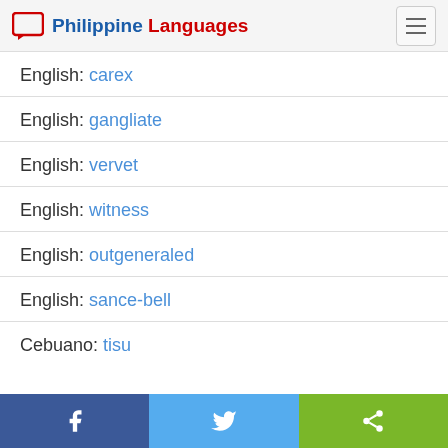Philippine Languages
English: carex
English: gangliate
English: vervet
English: witness
English: outgeneraled
English: sance-bell
Cebuano: tisu